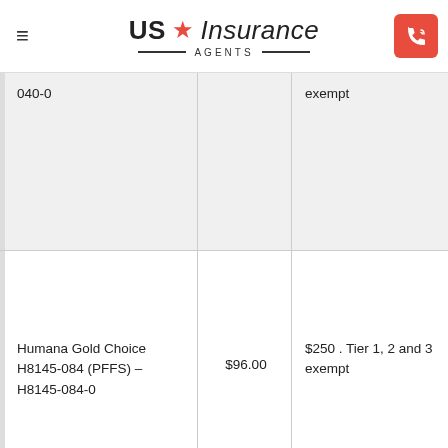US Insurance AGENTS
| Plan | Premium | Drug Deductible |
| --- | --- | --- |
| 040-0 |  | exempt |
| Humana Gold Choice H8145-084 (PFFS) – H8145-084-0 | $96.00 | $250 . Tier 1, 2 and 3 exempt |